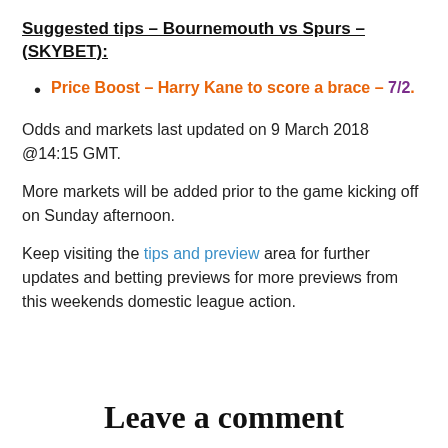Suggested tips – Bournemouth vs Spurs – (SKYBET):
Price Boost – Harry Kane to score a brace – 7/2.
Odds and markets last updated on 9 March 2018 @14:15 GMT.
More markets will be added prior to the game kicking off on Sunday afternoon.
Keep visiting the tips and preview area for further updates and betting previews for more previews from this weekends domestic league action.
Leave a comment